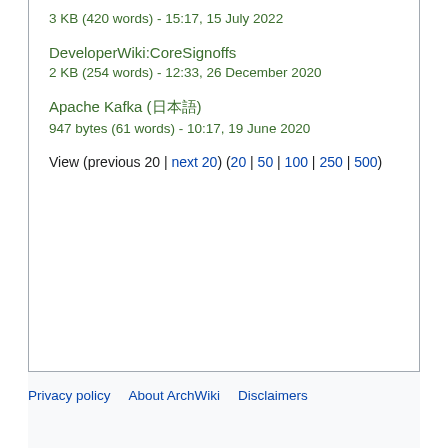3 KB (420 words) - 15:17, 15 July 2022
DeveloperWiki:CoreSignoffs
2 KB (254 words) - 12:33, 26 December 2020
Apache Kafka (日本語)
947 bytes (61 words) - 10:17, 19 June 2020
View (previous 20 | next 20) (20 | 50 | 100 | 250 | 500)
Privacy policy   About ArchWiki   Disclaimers